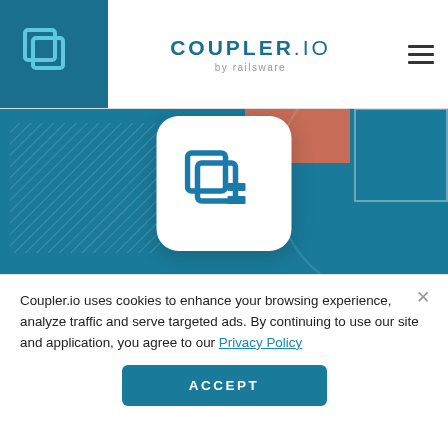COUPLER.IO by railsware
[Figure (logo): Coupler.io hero banner with logo card, decorative geometric shapes, brand name COUPLER.IO BY RAILSWARE, and tagline 'Focus on your business' on teal/blue background]
Coupler.io uses cookies to enhance your browsing experience, analyze traffic and serve targeted ads. By continuing to use our site and application, you agree to our Privacy Policy
ACCEPT